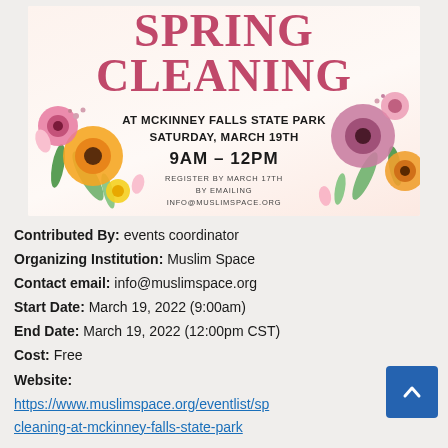[Figure (illustration): Spring Cleaning event flyer for McKinney Falls State Park. Large pink serif text reads 'SPRING CLEANING'. Below: 'AT MCKINNEY FALLS STATE PARK', 'SATURDAY, MARCH 19TH', '9AM – 12PM', 'REGISTER BY MARCH 17TH BY EMAILING INFO@MUSLIMSPACE.ORG'. Decorated with watercolor flowers on left and right sides.]
Contributed By: events coordinator
Organizing Institution: Muslim Space
Contact email: info@muslimspace.org
Start Date: March 19, 2022 (9:00am)
End Date: March 19, 2022 (12:00pm CST)
Cost: Free
Website:
https://www.muslimspace.org/eventlist/spring-cleaning-at-mckinney-falls-state-park